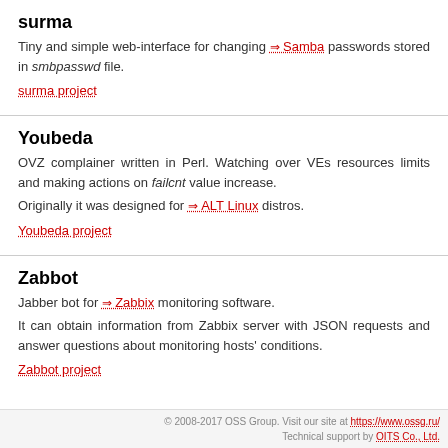surma
Tiny and simple web-interface for changing Samba passwords stored in smbpasswd file.
surma project
Youbeda
OVZ complainer written in Perl. Watching over VEs resources limits and making actions on failcnt value increase.
Originally it was designed for ALT Linux distros.
Youbeda project
Zabbot
Jabber bot for Zabbix monitoring software.
It can obtain information from Zabbix server with JSON requests and answer questions about monitoring hosts' conditions.
Zabbot project
© 2008-2017 OSS Group. Visit our site at https://www.ossg.ru/ Technical support by OITS Co., Ltd.